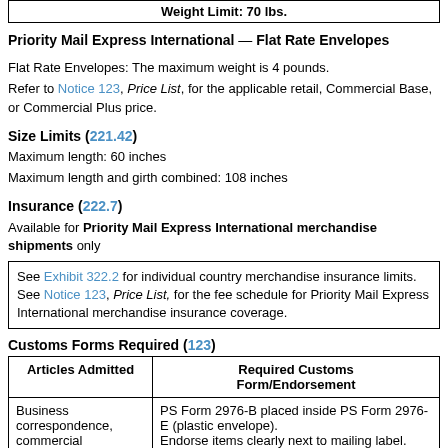Weight Limit: 70 lbs.
Priority Mail Express International — Flat Rate Envelopes
Flat Rate Envelopes: The maximum weight is 4 pounds.
Refer to Notice 123, Price List, for the applicable retail, Commercial Base, or Commercial Plus price.
Size Limits (221.42)
Maximum length: 60 inches
Maximum length and girth combined: 108 inches
Insurance (222.7)
Available for Priority Mail Express International merchandise shipments only
See Exhibit 322.2 for individual country merchandise insurance limits. See Notice 123, Price List, for the fee schedule for Priority Mail Express International merchandise insurance coverage.
Customs Forms Required (123)
| Articles Admitted | Required Customs Form/Endorsement |
| --- | --- |
| Business correspondence, commercial | PS Form 2976-B placed inside PS Form 2976-E (plastic envelope).
Endorse items clearly next to mailing label. |